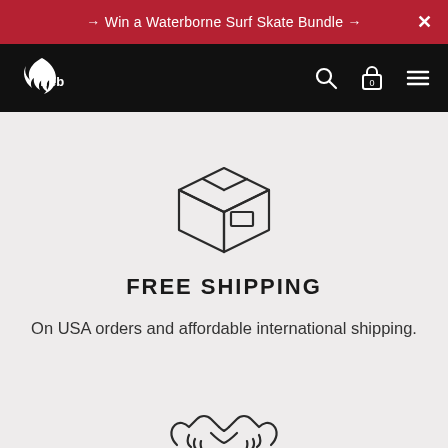→ Win a Waterborne Surf Skate Bundle → ✕
[Figure (logo): Fireb brand logo with flame icon and text 'fireb' in white on black navbar, with search, cart (0), and menu icons on right]
[Figure (illustration): Line art icon of a shipping box/package with tape lines on top and a label rectangle on the front face]
FREE SHIPPING
On USA orders and affordable international shipping.
[Figure (illustration): Line art icon of two hands shaking in a handshake gesture]